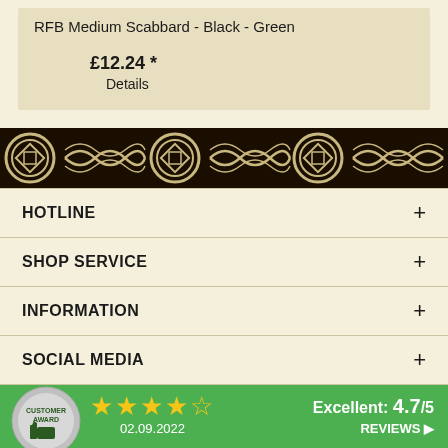RFB Medium Scabbard - Black - Green
£12.24 *
Details
[Figure (illustration): Decorative Celtic knotwork border band in black and cream/gold colors, featuring repeated interlaced knot patterns and circular medallions]
HOTLINE +
SHOP SERVICE +
INFORMATION +
SOCIAL MEDIA +
[Figure (infographic): Customer award rating bar showing 4.5 stars out of 5, Excellent: 4.7/5, date 02.09.2022, and REVIEWS link with customer award badge]